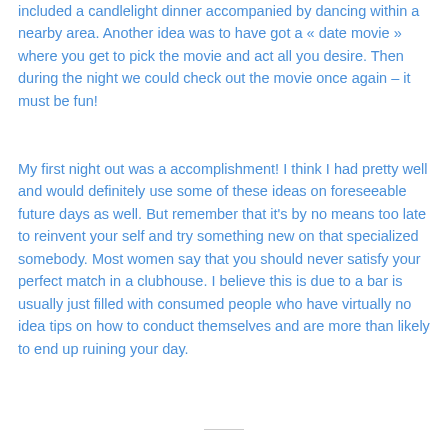included a candlelight dinner accompanied by dancing within a nearby area. Another idea was to have got a « date movie » where you get to pick the movie and act all you desire. Then during the night we could check out the movie once again – it must be fun!
My first night out was a accomplishment! I think I had pretty well and would definitely use some of these ideas on foreseeable future days as well. But remember that it's by no means too late to reinvent your self and try something new on that specialized somebody. Most women say that you should never satisfy your perfect match in a clubhouse. I believe this is due to a bar is usually just filled with consumed people who have virtually no idea tips on how to conduct themselves and are more than likely to end up ruining your day.